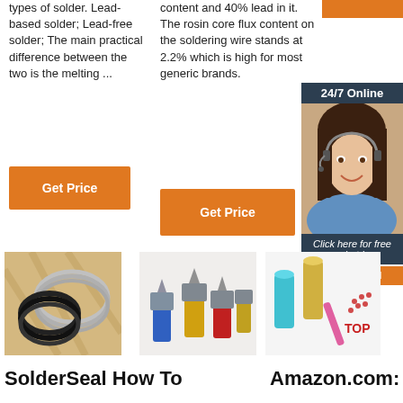types of solder. Lead-based solder; Lead-free solder; The main practical difference between the two is the melting ...
content and 40% lead in it. The rosin core flux content on the soldering wire stands at 2.2% which is high for most generic brands.
[Figure (photo): Orange button placeholder at top right]
[Figure (photo): 24/7 Online chat widget with woman wearing headset, dark background with 'Click here for free chat!' and QUOTATION button]
Get Price
Get Price
[Figure (photo): Coiled soldering wire - black and silver wire coils on golden/tan fabric background]
[Figure (photo): Electrical connectors - blue, yellow, and red spade connectors]
[Figure (photo): Blue and yellow cylindrical connectors with pink pen and TOP badge]
SolderSeal How To
Amazon.com: